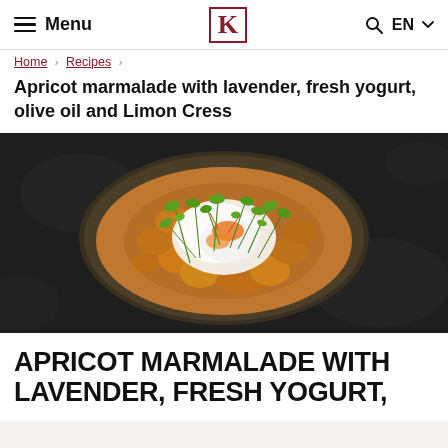Menu | K logo | Q  EN
Home > Recipes >
Apricot marmalade with lavender, fresh yogurt, olive oil and Limon Cress
[Figure (photo): Overhead shot of a dark ceramic bowl filled with apricot marmalade, topped with a swirl of white yogurt and fresh green micro herb cress, on a dark textured slate background.]
APRICOT MARMALADE WITH LAVENDER, FRESH YOGURT,